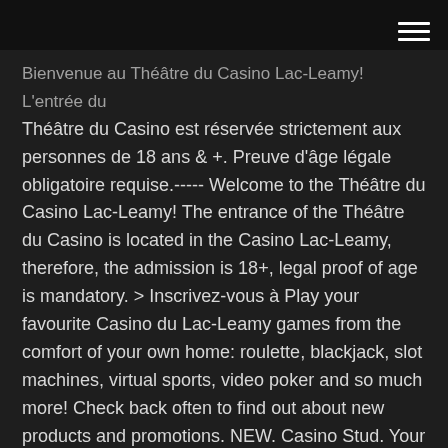[hamburger menu icon]
Bienvenue au Théâtre du Casino Lac-Leamy! L'entrée du Théâtre du Casino est réservée strictement aux personnes de 18 ans & +. Preuve d'âge légale obligatoire requise.----- Welcome to the Théâtre du Casino Lac-Leamy! The entrance of the Théâtre du Casino is located in the Casino Lac-Leamy, therefore, the admission is 18+, legal proof of age is mandatory. > Inscrivez-vous à Play your favourite Casino du Lac-Leamy games from the comfort of your own home: roulette, blackjack, slot machines, virtual sports, video poker and so much more! Check back often to find out about new products and promotions. NEW. Casino Stud. Your winnings could be up to 1,000 times your wager. ONLINE CASINO . Original Roulette. Select numbers and wait to see where the ball lands! NEW. Power Casino games provide to their players an option to play free play online